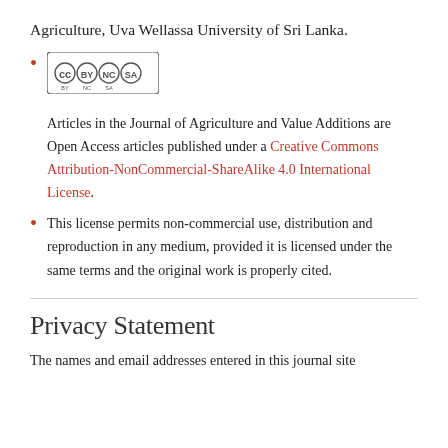Agriculture, Uva Wellassa University of Sri Lanka.
[CC BY NC SA logo] Articles in the Journal of Agriculture and Value Additions are Open Access articles published under a Creative Commons Attribution-NonCommercial-ShareAlike 4.0 International License.
This license permits non-commercial use, distribution and reproduction in any medium, provided it is licensed under the same terms and the original work is properly cited.
Privacy Statement
The names and email addresses entered in this journal site